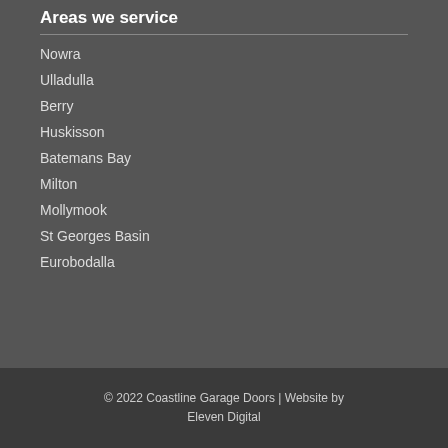Areas we service
Nowra
Ulladulla
Berry
Huskisson
Batemans Bay
Milton
Mollymook
St Georges Basin
Eurobodalla
© 2022 Coastline Garage Doors | Website by Eleven Digital